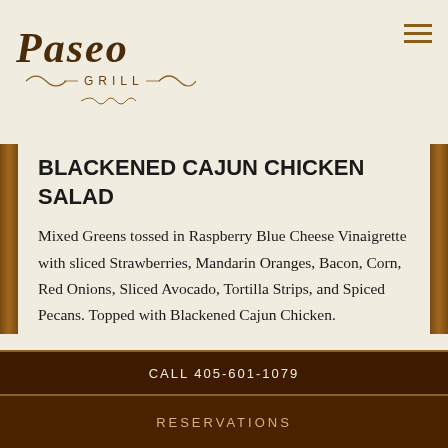[Figure (logo): Paseo Grill restaurant logo with italic serif text and ornamental flourish]
BLACKENED CAJUN CHICKEN SALAD
Mixed Greens tossed in Raspberry Blue Cheese Vinaigrette with sliced Strawberries, Mandarin Oranges, Bacon, Corn, Red Onions, Sliced Avocado, Tortilla Strips, and Spiced Pecans. Topped with Blackened Cajun Chicken.
14
CALL 405-601-1079
RESERVATIONS